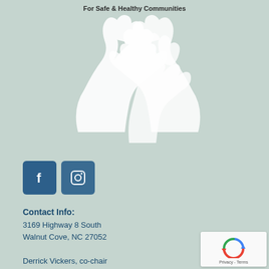[Figure (illustration): White silhouette hands reaching upward on a sage/muted green background, with tagline 'For Safe & Healthy Communities' above]
[Figure (infographic): Two social media icon buttons: Facebook (f) and Instagram (camera icon), dark blue rounded squares]
Contact Info:
3169 Highway 8 South
Walnut Cove, NC 27052

Derrick Vickers, co-chair
336-287-2411
Email: Use Contact Form